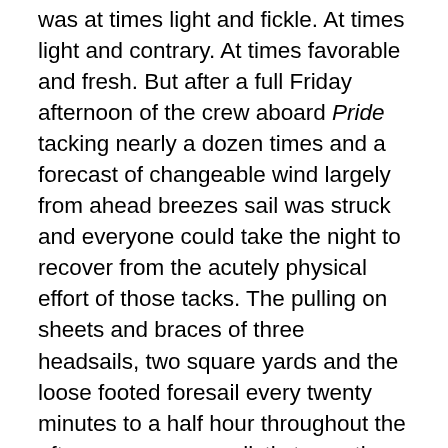was at times light and fickle. At times light and contrary. At times favorable and fresh. But after a full Friday afternoon of the crew aboard Pride tacking nearly a dozen times and a forecast of changeable wind largely from ahead breezes sail was struck and everyone could take the night to recover from the acutely physical effort of those tacks. The pulling on sheets and braces of three headsails, two square yards and the loose footed foresail every twenty minutes to a half hour throughout the afternoon was unrealistic to continue on through the coming night. Particularly as Pride was not actually in a race. Those much more modern than Pride racing vessels made very few tacks and most had only one headsail to pass from side to side. Two additional realities helped me give the crew relief for the night from all the sail handling. A forecast of dead calm at the bottom of the bay most of Saturday and a 600 plus nautical miles ocean passage to make after getting out of the Chesapeake Bay. Now Pride is on her way under sail